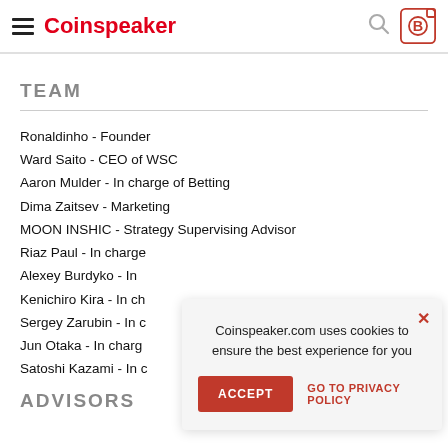Coinspeaker
TEAM
Ronaldinho - Founder
Ward Saito - CEO of WSC
Aaron Mulder - In charge of Betting
Dima Zaitsev - Marketing
MOON INSHIC - Strategy Supervising Advisor
Riaz Paul - In charge
Alexey Burdyko - In
Kenichiro Kira - In ch
Sergey Zarubin - In c
Jun Otaka - In charg
Satoshi Kazami - In c
ADVISORS
Coinspeaker.com uses cookies to ensure the best experience for you
ACCEPT | GO TO PRIVACY POLICY